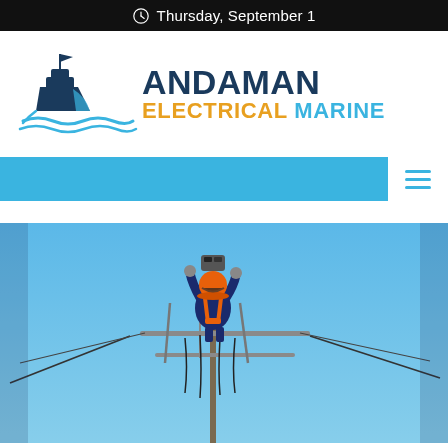Thursday, September 1
[Figure (logo): Andaman Electrical Marine logo featuring a ship graphic with waves and the company name in dark blue, orange, and light blue text]
[Figure (other): Navigation bar — solid sky-blue horizontal bar with hamburger menu icon on the right]
[Figure (photo): Electrician or utility worker in orange hard hat and dark blue/orange safety gear working on electrical cables and equipment at the top of a utility pole, against a clear blue sky]